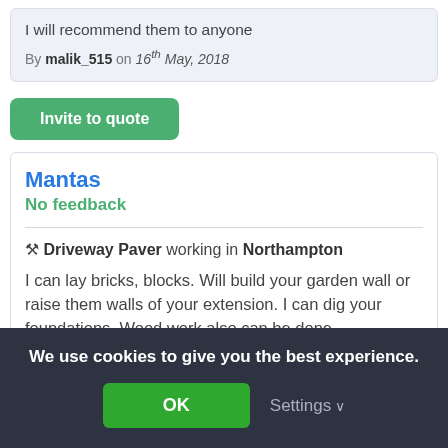I will recommend them to anyone
By malik_515 on 16th May, 2018
Invite to quote
Mantas
No feedback
🔧 Driveway Paver working in Northampton
I can lay bricks, blocks. Will build your garden wall or raise them walls of your extension. I can dig your foundations. Wood work also can be done
We use cookies to give you the best experience.
OK
Settings